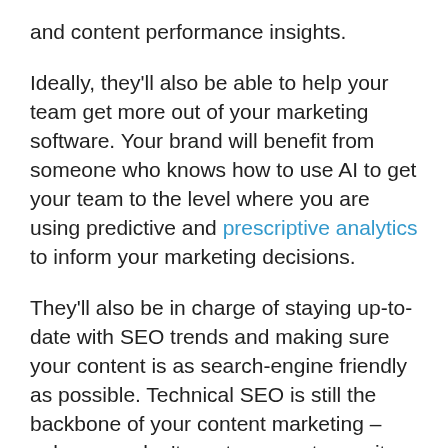and content performance insights.
Ideally, they'll also be able to help your team get more out of your marketing software. Your brand will benefit from someone who knows how to use AI to get your team to the level where you are using predictive and prescriptive analytics to inform your marketing decisions.
They'll also be in charge of staying up-to-date with SEO trends and making sure your content is as search-engine friendly as possible. Technical SEO is still the backbone of your content marketing – unless you don't want anyone to see it.
Tap into an Endless Sea of Content Contributors